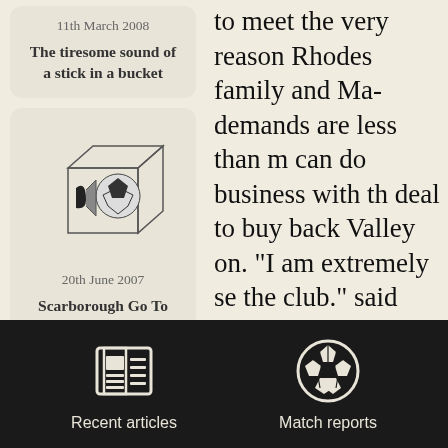11th March 2008
The tiresome sound of a stick in a bucket
[Figure (illustration): A small geometric cube illustration with abstract shapes inside, representing a ball or sound.]
20th June 2007
Scarborough Go To Dust
to meet the very reason Rhodes family and Ma demands are less than m can do business with th deal to buy back Valley on. “I am extremely se the club.” said Paladin believe him.
There was an audible s Yorkshire as the prospe
Recent articles
Match reports